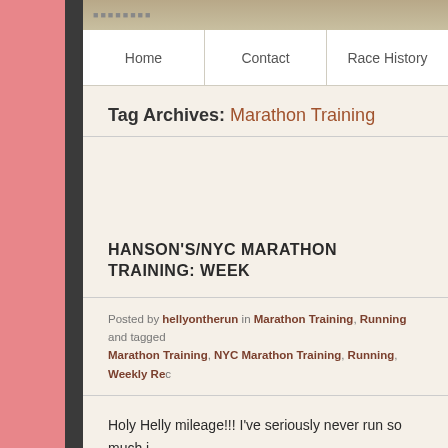Navigation: Home | Contact | Race History
Tag Archives: Marathon Training
HANSON'S/NYC MARATHON TRAINING: WEEK
Posted by hellyontherun in Marathon Training, Running and tagged Marathon Training, NYC Marathon Training, Running, Weekly Re...
Holy Helly mileage!!! I've seriously never run so much i
The plan: